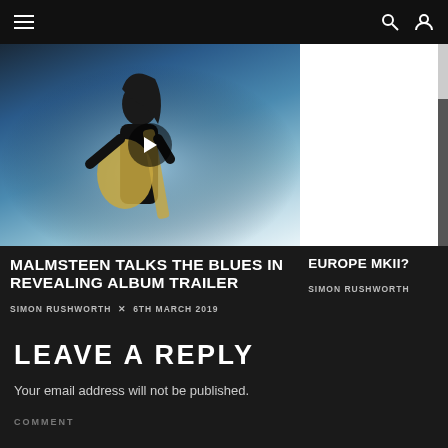Navigation header with hamburger menu, search and user icons
[Figure (photo): Guitarist playing electric guitar on stage with blue/teal lighting background and play button overlay]
[Figure (photo): White/blank image with scrollbar on right side]
MALMSTEEN TALKS THE BLUES IN REVEALING ALBUM TRAILER
SIMON RUSHWORTH × 6TH MARCH 2019
EUROPE MKII?
SIMON RUSHWORTH
LEAVE A REPLY
Your email address will not be published.
COMMENT